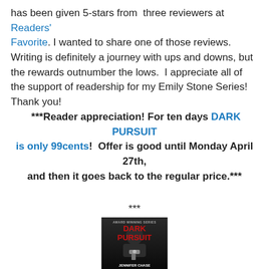has been given 5-stars from three reviewers at Readers' Favorite. I wanted to share one of those reviews. Writing is definitely a journey with ups and downs, but the rewards outnumber the lows. I appreciate all of the support of readership for my Emily Stone Series! Thank you!
***Reader appreciation! For ten days DARK PURSUIT is only 99cents! Offer is good until Monday April 27th, and then it goes back to the regular price.***
***
[Figure (photo): Book cover for 'Dark Pursuit' by Jennifer Chase. Dark background with a person holding a gun. Title in large red text, 'AWARD WINNING SERIES' at top, author name at bottom.]